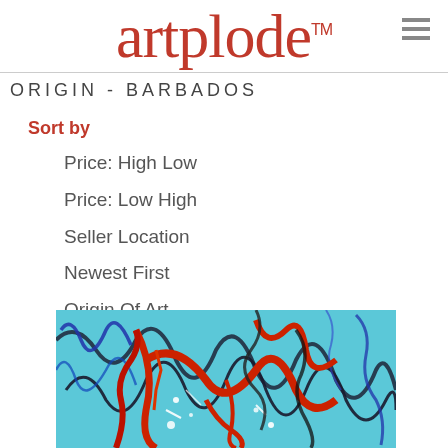artplode™
ORIGIN - BARBADOS
Sort by
Price: High Low
Price: Low High
Seller Location
Newest First
Origin Of Art
[Figure (photo): Abstract expressionist painting with cyan/turquoise background, red and black drip paint patterns and swirling lines in Jackson Pollock style]